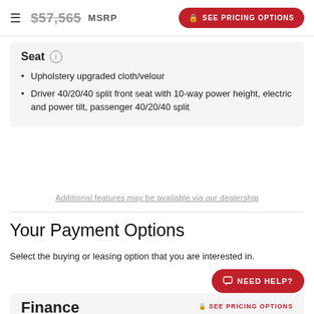$57,565 MSRP | SEE PRICING OPTIONS
Seat
Upholstery upgraded cloth/velour
Driver 40/20/40 split front seat with 10-way power height, electric and power tilt, passenger 40/20/40 split
Additional features may be available via our dealership
Your Payment Options
Select the buying or leasing option that you are interested in.
Finance